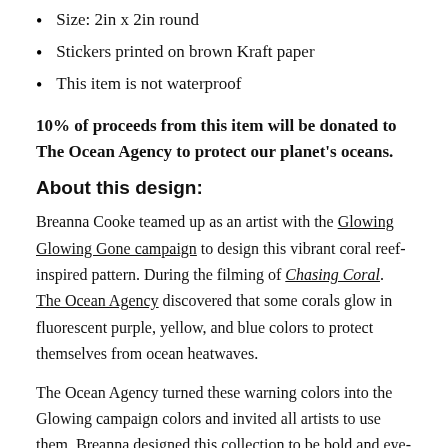Size: 2in x 2in round
Stickers printed on brown Kraft paper
This item is not waterproof
10% of proceeds from this item will be donated to The Ocean Agency to protect our planet's oceans.
About this design:
Breanna Cooke teamed up as an artist with the Glowing Glowing Gone campaign to design this vibrant coral reef-inspired pattern. During the filming of Chasing Coral. The Ocean Agency discovered that some corals glow in fluorescent purple, yellow, and blue colors to protect themselves from ocean heatwaves.
The Ocean Agency turned these warning colors into the Glowing campaign colors and invited all artists to use them. Breanna designed this collection to be bold and eye-